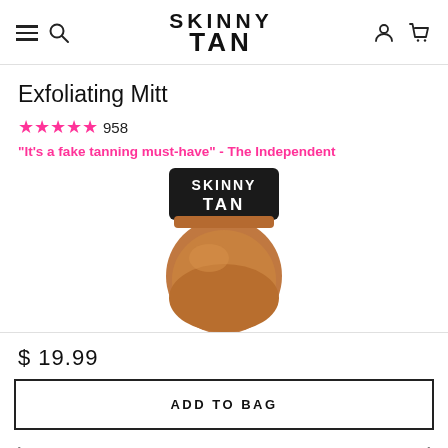SKINNY TAN — navigation header with hamburger menu, search, logo, account and cart icons
Exfoliating Mitt
★★★★★ 958
"It's a fake tanning must-have" - The Independent
[Figure (photo): Skinny Tan exfoliating mitt with black branded cuff showing SKINNY TAN logo and brown/tan textured glove body]
$ 19.99
ADD TO BAG